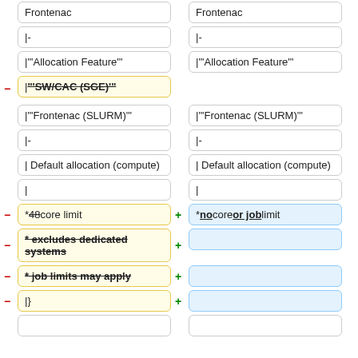Frontenac
Frontenac
|-
|-
|"'Allocation Feature'"
|"'Allocation Feature'"
|"'SW/CAC (SGE)'"
|"'Frontenac (SLURM)'"
|"'Frontenac (SLURM)'"
|-
|-
| Default allocation (compute)
| Default allocation (compute)
|
|
* 48 core limit
* no core or job limit
* excludes dedicated systems
* job limits may apply
|}